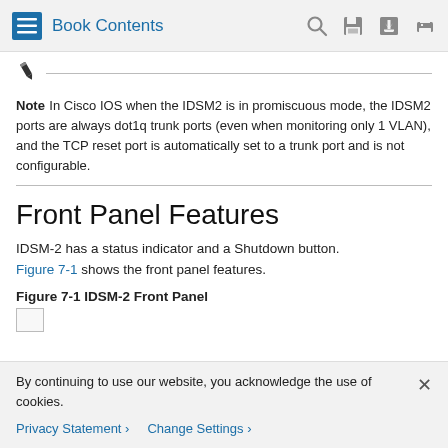Book Contents
Note  In Cisco IOS when the IDSM2 is in promiscuous mode, the IDSM2 ports are always dot1q trunk ports (even when monitoring only 1 VLAN), and the TCP reset port is automatically set to a trunk port and is not configurable.
Front Panel Features
IDSM-2 has a status indicator and a Shutdown button. Figure 7-1 shows the front panel features.
Figure 7-1 IDSM-2 Front Panel
[Figure (other): Partially visible thumbnail/placeholder for Figure 7-1 IDSM-2 Front Panel diagram]
By continuing to use our website, you acknowledge the use of cookies.
Privacy Statement > Change Settings >